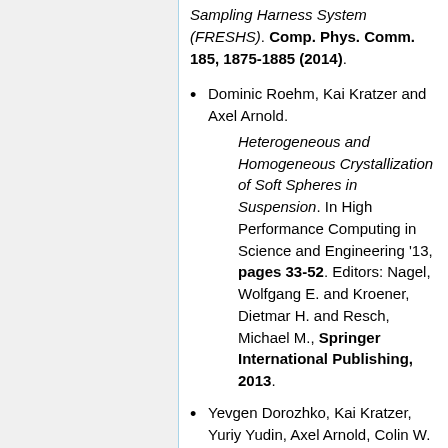Sampling Harness System (FRESHS). Comp. Phys. Comm. 185, 1875-1885 (2014).
Dominic Roehm, Kai Kratzer and Axel Arnold. Heterogeneous and Homogeneous Crystallization of Soft Spheres in Suspension. In High Performance Computing in Science and Engineering '13, pages 33-52. Editors: Nagel, Wolfgang E. and Kroener, Dietmar H. and Resch, Michael M., Springer International Publishing, 2013.
Yevgen Dorozhko, Kai Kratzer, Yuriy Yudin, Axel Arnold, Colin W. Glass and Michael Resch. Rare Event Sampling using the